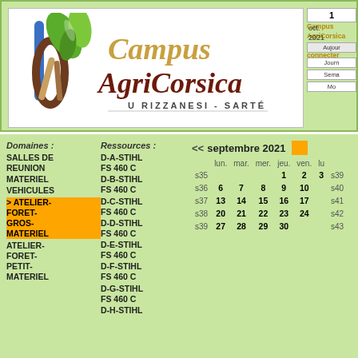[Figure (logo): Campus AgriCorsica logo with leaf and tools graphic, text 'Campus AgriCorsica U RIZZANESI - SARTÉ']
Accueil - Campus AgriCorsica
Se connecter
1
oct.
2021
Aujourd'
Journ
Sema
Mo
Domaines :
SALLES DE REUNION
MATERIEL
VEHICULES
> ATELIER-FORET-GROS-MATERIEL
ATELIER-FORET-PETIT-MATERIEL
Ressources :
D-A-STIHL
FS 460 C
D-B-STIHL
FS 460 C
D-C-STIHL
FS 460 C
D-D-STIHL
FS 460 C
D-E-STIHL
FS 460 C
D-F-STIHL
FS 460 C
D-G-STIHL
FS 460 C
D-H-STIHL
|  | lun. | mar. | mer. | jeu. | ven. |  |
| --- | --- | --- | --- | --- | --- | --- |
| s35 |  |  |  | 1 | 2 | 3 | s39 |
| s36 | 6 | 7 | 8 | 9 | 10 | s40 |
| s37 | 13 | 14 | 15 | 16 | 17 | s41 |
| s38 | 20 | 21 | 22 | 23 | 24 | s42 |
| s39 | 27 | 28 | 29 | 30 |  | s43 |